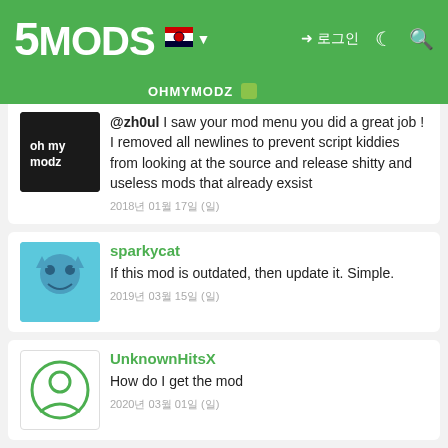5MODS navigation bar with logo, Korean flag, login button, dark mode and search icons
OHMYMODZ [online]
@zh0ul I saw your mod menu you did a great job ! I removed all newlines to prevent script kiddies from looking at the source and release shitty and useless mods that already exsist
2018년 01월 17일 (일)
sparkycat
If this mod is outdated, then update it. Simple.
2019년 03월 15일 (일)
UnknownHitsX
How do I get the mod
2020년 03월 01일 (일)
lostmc12345
does it work for online
2021년 05월 03일 (월)